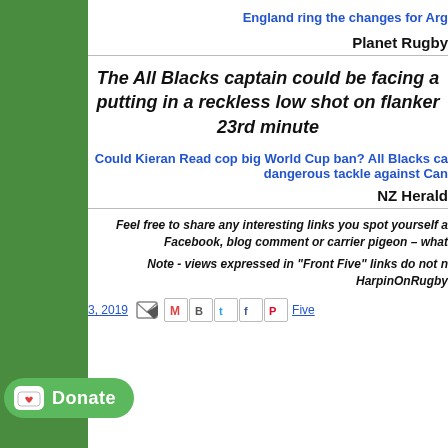England ring the changes for Arg
Planet Rugby
The All Blacks captain could be facing a putting in a reckless low shot on flanker 23rd minute
Could Kieran Read cop big World Cup ban? All Blacks ca dangerous tackle against Can
NZ Herald
Feel free to share any interesting links you spot yourself a Facebook, blog comment or carrier pigeon – what
Note - views expressed in "Front Five" links do not n HarpinOnRugby
2019  Front Five